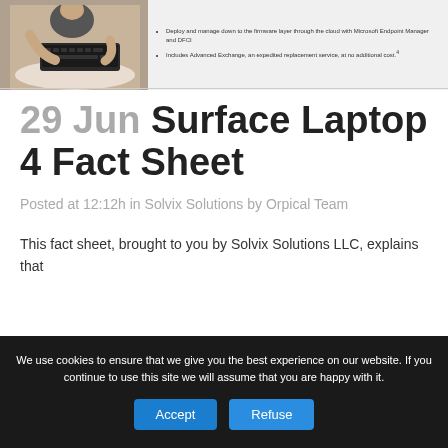[Figure (photo): Person using a laptop keyboard viewed from above, next to a block of bullet point text about firmware layer management via cloud with Microsoft Endpoint Manager and DFCI, and Advanced Exchange service.]
29 Jun Surface Laptop 4 Fact Sheet
Posted at 12:12h in Solvix Solutions by Orpical Team
This fact sheet, brought to you by Solvix Solutions LLC, explains that
We use cookies to ensure that we give you the best experience on our website. If you continue to use this site we will assume that you are happy with it.